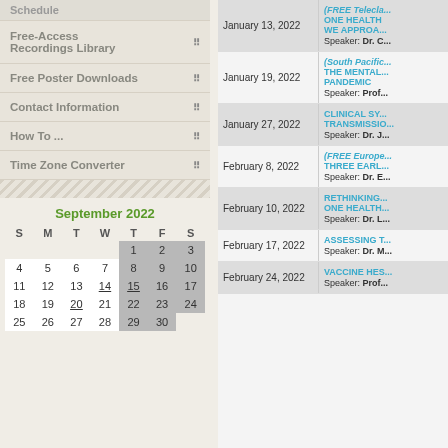Schedule
Free-Access Recordings Library
Free Poster Downloads
Contact Information
How To ...
Time Zone Converter
| S | M | T | W | T | F | S |
| --- | --- | --- | --- | --- | --- | --- |
|  |  |  |  | 1 | 2 | 3 |
| 4 | 5 | 6 | 7 | 8 | 9 | 10 |
| 11 | 12 | 13 | 14 | 15 | 16 | 17 |
| 18 | 19 | 20 | 21 | 22 | 23 | 24 |
| 25 | 26 | 27 | 28 | 29 | 30 |  |
| Date | Event |
| --- | --- |
| January 13, 2022 | (FREE Telecla...
ONE HEALTH WE APPROA...
Speaker: Dr. C... |
| January 19, 2022 | (South Pacific...
THE MENTAL... PANDEMIC
Speaker: Prof... |
| January 27, 2022 | CLINICAL SY... TRANSMISSIO...
Speaker: Dr. J... |
| February 8, 2022 | (FREE Europe...
THREE EARL...
Speaker: Dr. E... |
| February 10, 2022 | RETHINKING... ONE HEALTH...
Speaker: Dr. L... |
| February 17, 2022 | ASSESSING T...
Speaker: Dr. M... |
| February 24, 2022 | VACCINE HES...
Speaker: Prof... |